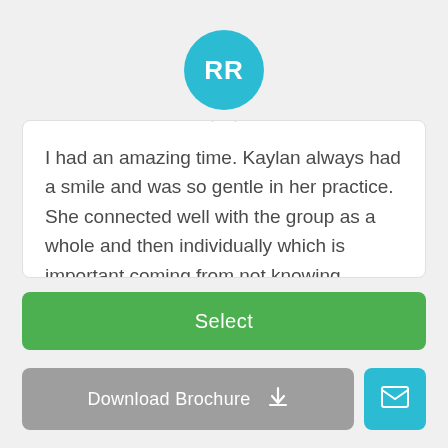[Figure (illustration): Teal circular avatar with white initials RR]
I had an amazing time. Kaylan always had a smile and was so gentle in her practice. She connected well with the group as a whole and then individually which is important coming from not knowing anyone in the group. I would strongly recommend this retreat and Mystica Lodge as a beautiful retreat centre. The food was amazing and the excursions were beautiful too (text cut off)
Select
Download Brochure
[Figure (illustration): Teal email icon button]